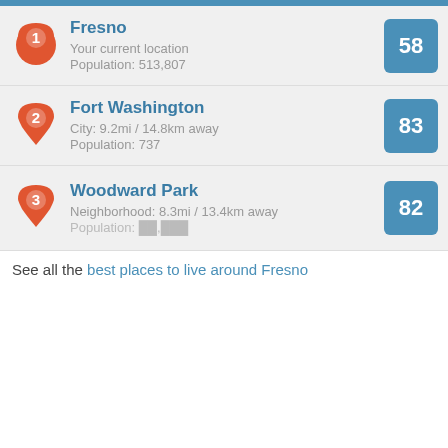Fresno | Your current location | Population: 513,807 | Score: 58
Fort Washington | City: 9.2mi / 14.8km away | Population: 737 | Score: 83
Woodward Park | Neighborhood: 8.3mi / 13.4km away | Score: 82
See all the best places to live around Fresno